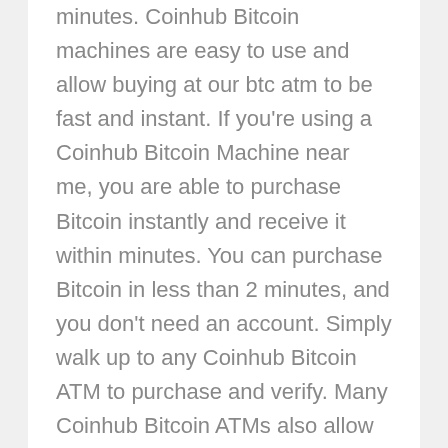minutes. Coinhub Bitcoin machines are easy to use and allow buying at our btc atm to be fast and instant. If you're using a Coinhub Bitcoin Machine near me, you are able to purchase Bitcoin instantly and receive it within minutes. You can purchase Bitcoin in less than 2 minutes, and you don't need an account. Simply walk up to any Coinhub Bitcoin ATM to purchase and verify. Many Coinhub Bitcoin ATMs also allow you to both buy AND sell crypto for cash. You can buy Bitcoin using one our Bitcoin ATMs. First, locate the nearest Bitcoin ATM in your area by visiting our Coinhub Bitcoin ATM Locator. Walk up to the machine and enter your phone number. You will then verify your phone with a code and scan your bitcoin wallet. Enter bills one bill at a time for the amount you would like to purchase and confirm the bitcoin atm prior to purchase. Bitcoin is then instantly sent to your wallet. The daily limit for buying Bitcoin is $25,000. We have